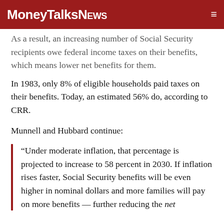MoneyTalksNews
As a result, an increasing number of Social Security recipients owe federal income taxes on their benefits, which means lower net benefits for them.
In 1983, only 8% of eligible households paid taxes on their benefits. Today, an estimated 56% do, according to CRR.
Munnell and Hubbard continue:
“Under moderate inflation, that percentage is projected to increase to 58 percent in 2030. If inflation rises faster, Social Security benefits will be even higher in nominal dollars and more families will pay on more benefits — further reducing the net